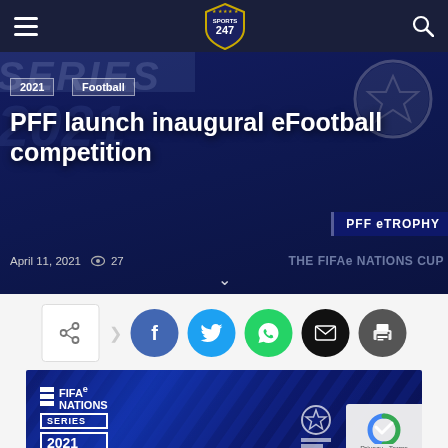Sports 247 — navigation header with hamburger menu and search icon
[Figure (screenshot): Hero banner image showing PFF eFootball/eTROPHY competition promotional graphic with dark blue background, SERIES 2021 text, football icon, PFF eTROPHY and FIFAe NATIONS CUP logos]
PFF launch inaugural eFootball competition
April 11, 2021  👁 27
[Figure (infographic): Social share buttons: share box with arrow, Facebook (blue circle), Twitter (cyan circle), WhatsApp (green circle), Email (black circle), Print (dark grey circle)]
[Figure (photo): FIFAe Nations Series 2021 promotional image with dark blue background with diagonal stripe pattern, FIFAe Nations Series 2021 logo on left, PFF eTROPHY logo with football icon on right, reCAPTCHA badge in bottom-right corner]